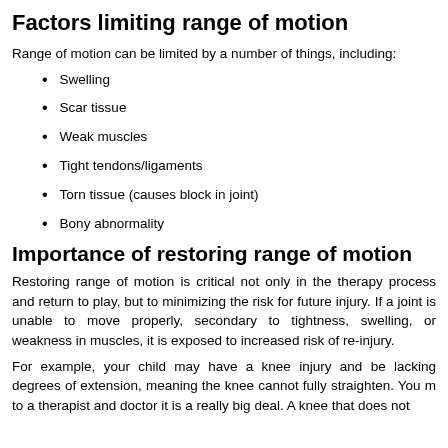Factors limiting range of motion
Range of motion can be limited by a number of things, including:
Swelling
Scar tissue
Weak muscles
Tight tendons/ligaments
Torn tissue (causes block in joint)
Bony abnormality
Importance of restoring range of motion
Restoring range of motion is critical not only in the therapy process and return to play, but to minimizing the risk for future injury. If a joint is unable to move properly, secondary to tightness, swelling, or weakness in muscles, it is exposed to increased risk of re-injury.
For example, your child may have a knee injury and be lacking degrees of extension, meaning the knee cannot fully straighten. You may to a therapist and doctor it is a really big deal. A knee that does not...